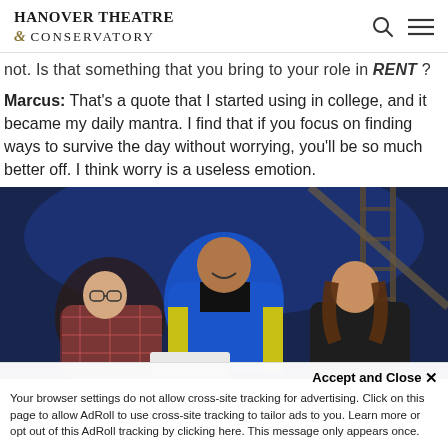HANOVER THEATRE & CONSERVATORY
not. Is that something that you bring to your role in RENT ?
Marcus: That's a quote that I started using in college, and it became my daily mantra. I find that if you focus on finding ways to survive the day without worrying, you'll be so much better off. I think worry is a useless emotion.
[Figure (photo): Three actors on stage from the musical RENT: a person in plaid jacket on left, a person in blue jacket crouching in center, and a person in dark clothing on right, against a blue-lit industrial set]
Accept and Close ✕
Your browser settings do not allow cross-site tracking for advertising. Click on this page to allow AdRoll to use cross-site tracking to tailor ads to you. Learn more or opt out of this AdRoll tracking by clicking here. This message only appears once.